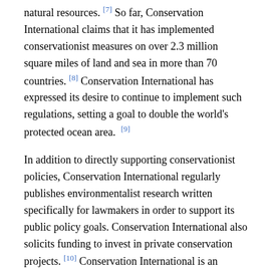natural resources. [7] So far, Conservation International claims that it has implemented conservationist measures on over 2.3 million square miles of land and sea in more than 70 countries. [8] Conservation International has expressed its desire to continue to implement such regulations, setting a goal to double the world's protected ocean area. [9]
In addition to directly supporting conservationist policies, Conservation International regularly publishes environmentalist research written specifically for lawmakers in order to support its public policy goals. Conservation International also solicits funding to invest in private conservation projects. [10] Conservation International is an accredited agency for the Global Environmental Facility and the Green Climate Fund. The organization also supports countries seeking funding for environmentalist projects, most recently helping 15 countries in Africa to access more than $100 million in environmental financing.